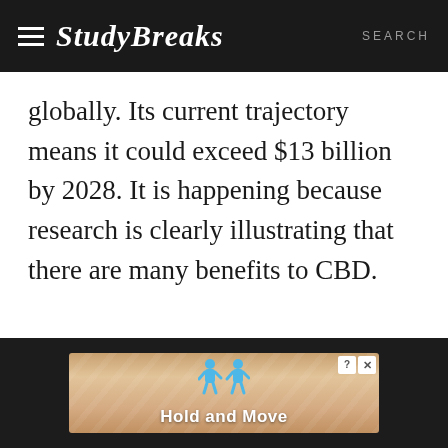Study Breaks | SEARCH
globally. Its current trajectory means it could exceed $13 billion by 2028. It is happening because research is clearly illustrating that there are many benefits to CBD.
[Figure (screenshot): Advertisement banner with cartoon figures and text 'Hold and Move']